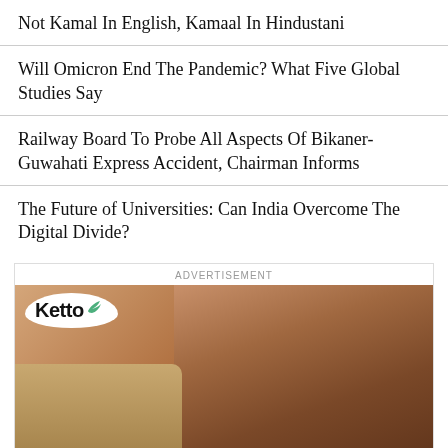Not Kamal In English, Kamaal In Hindustani
Will Omicron End The Pandemic? What Five Global Studies Say
Railway Board To Probe All Aspects Of Bikaner-Guwahati Express Accident, Chairman Informs
The Future of Universities: Can India Overcome The Digital Divide?
[Figure (photo): Advertisement banner for Ketto showing a woman holding a crying baby in a medical setting. The Ketto logo appears in the top left of the image.]